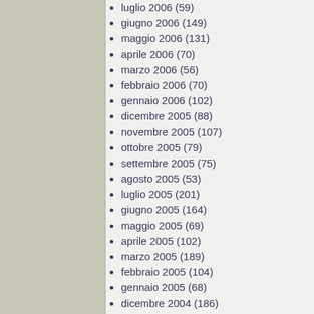luglio 2006 (59)
giugno 2006 (149)
maggio 2006 (131)
aprile 2006 (70)
marzo 2006 (56)
febbraio 2006 (70)
gennaio 2006 (102)
dicembre 2005 (88)
novembre 2005 (107)
ottobre 2005 (79)
settembre 2005 (75)
agosto 2005 (53)
luglio 2005 (201)
giugno 2005 (164)
maggio 2005 (69)
aprile 2005 (102)
marzo 2005 (189)
febbraio 2005 (104)
gennaio 2005 (68)
dicembre 2004 (186)
novembre 2004 (53)
ottobre 2004 (46)
settembre 2004 (102)
agosto 2004 (14)
Post Categories
Community e amici (rss)
Miei articoli, presentazioni e webcast
Copyright © Lorenzo Barbieri